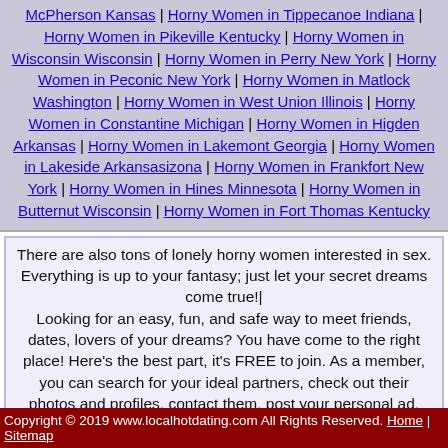McPherson Kansas | Horny Women in Tippecanoe Indiana | Horny Women in Pikeville Kentucky | Horny Women in Wisconsin Wisconsin | Horny Women in Perry New York | Horny Women in Peconic New York | Horny Women in Matlock Washington | Horny Women in West Union Illinois | Horny Women in Constantine Michigan | Horny Women in Higden Arkansas | Horny Women in Lakemont Georgia | Horny Women in Lakeside Arkansasizona | Horny Women in Frankfort New York | Horny Women in Hines Minnesota | Horny Women in Butternut Wisconsin | Horny Women in Fort Thomas Kentucky
There are also tons of lonely horny women interested in sex. Everything is up to your fantasy; just let your secret dreams come true! Looking for an easy, fun, and safe way to meet friends, dates, lovers of your dreams? You have come to the right place! Here's the best part, it's FREE to join. As a member, you can search for your ideal partners, check out their photos and profiles, contact them, post your personal ad, upload your photo. Whether you're looking for a friend, something fun, or your soul mate, it could all...
Copyright © 2019 www.localhotdating.com All Rights Reserved. Home | Sitemap